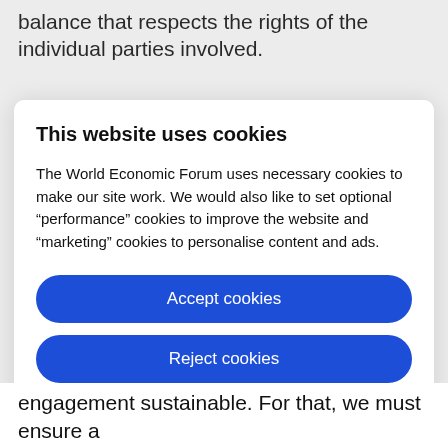balance that respects the rights of the individual parties involved.
This website uses cookies
The World Economic Forum uses necessary cookies to make our site work. We would also like to set optional “performance” cookies to improve the website and “marketing” cookies to personalise content and ads.
Accept cookies
Reject cookies
Cookie settings
engagement sustainable. For that, we must ensure a